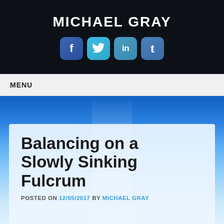MICHAEL GRAY
[Figure (infographic): Social media icons: Facebook (f), Twitter (bird t), LinkedIn (in), Tumblr (t) — rounded square icons in blue tones]
MENU
Balancing on a Slowly Sinking Fulcrum
POSTED ON 12/05/2017 BY MICHAEL GRAY